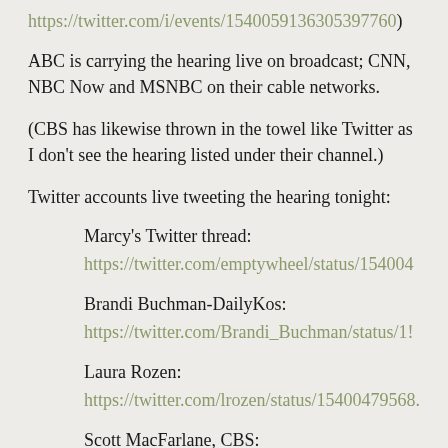https://twitter.com/i/events/1540059136305397760)
ABC is carrying the hearing live on broadcast; CNN, NBC Now and MSNBC on their cable networks.
(CBS has likewise thrown in the towel like Twitter as I don't see the hearing listed under their channel.)
Twitter accounts live tweeting the hearing tonight:
Marcy's Twitter thread:
https://twitter.com/emptywheel/status/154004
Brandi Buchman-DailyKos:
https://twitter.com/Brandi_Buchman/status/1!
Laura Rozen:
https://twitter.com/lrozen/status/15400479568.
Scott MacFarlane, CBS: